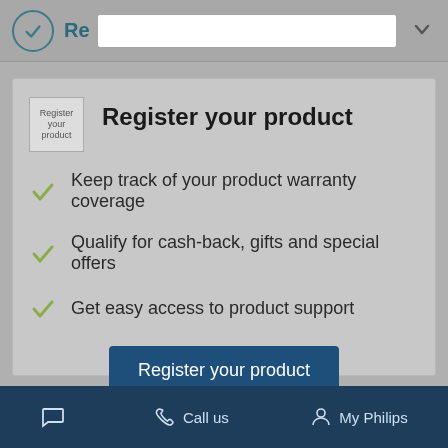[Figure (screenshot): Top navigation bar with teal checkmark circle icon, 'Re' text (partially obscured by white input box), and a down chevron icon on the right]
Register your product
Keep track of your product warranty coverage
Qualify for cash-back, gifts and special offers
Get easy access to product support
Register your product
Call us   My Philips